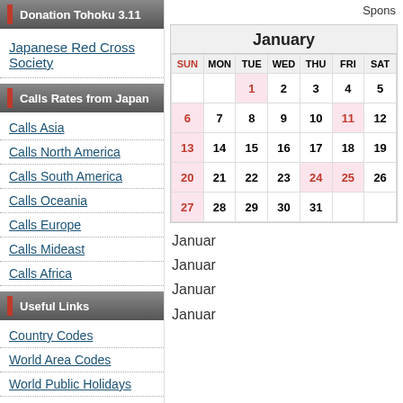Donation Tohoku 3.11
Japanese Red Cross Society
Calls Rates from Japan
Calls Asia
Calls North America
Calls South America
Calls Oceania
Calls Europe
Calls Mideast
Calls Africa
Useful Links
Country Codes
World Area Codes
World Public Holidays
World Times
World Weather
Spons
| SUN | MON | TUE | WED | THU | FRI | SAT |
| --- | --- | --- | --- | --- | --- | --- |
|  |  | 1 | 2 | 3 | 4 | 5 |
| 6 | 7 | 8 | 9 | 10 | 11 | 12 |
| 13 | 14 | 15 | 16 | 17 | 18 | 19 |
| 20 | 21 | 22 | 23 | 24 | 25 | 26 |
| 27 | 28 | 29 | 30 | 31 |  |  |
January
January
January
January